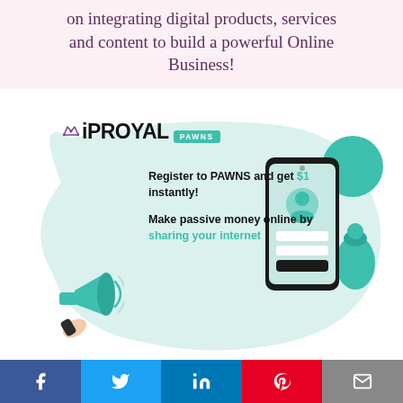on integrating digital products, services and content to build a powerful Online Business!
[Figure (infographic): iPROYAL PAWNS advertisement card with teal blob background, megaphone illustration, and phone/login screen illustration. Text: Register to PAWNS and get $1 instantly! Make passive money online by sharing your internet]
[Figure (infographic): Social media share buttons bar: Facebook (blue), Twitter (light blue), LinkedIn (dark blue), Pinterest (red), Email (gray)]